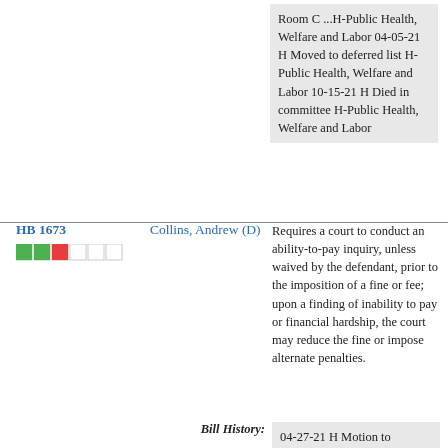Room C ...H-Public Health, Welfare and Labor 04-05-21 H Moved to deferred list H-Public Health, Welfare and Labor 10-15-21 H Died in committee H-Public Health, Welfare and Labor
HB 1673
Collins, Andrew (D)
Requires a court to conduct an ability-to-pay inquiry, unless waived by the defendant, prior to the imposition of a fine or fee; upon a finding of inability to pay or financial hardship, the court may reduce the fine or impose alternate penalties.
Bill History:
04-27-21 H Motion to withdraw from